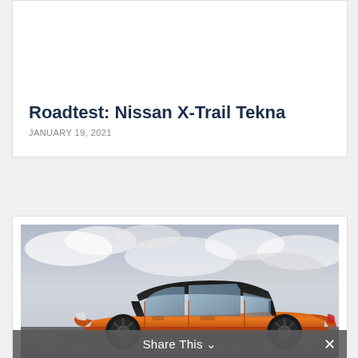Roadtest: Nissan X-Trail Tekna
JANUARY 19, 2021
[Figure (photo): Side profile of an orange/copper colored hatchback car (appears to be a Volkswagen Polo or similar) photographed outdoors against a dramatic cloudy sky, parked on a wet surface]
Share This ∨